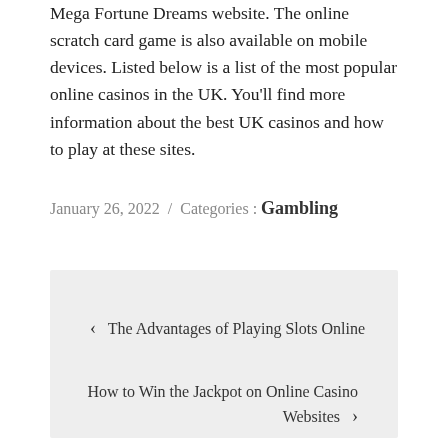Mega Fortune Dreams website. The online scratch card game is also available on mobile devices. Listed below is a list of the most popular online casinos in the UK. You'll find more information about the best UK casinos and how to play at these sites.
January 26, 2022  /  Categories : Gambling
< The Advantages of Playing Slots Online
How to Win the Jackpot on Online Casino Websites >